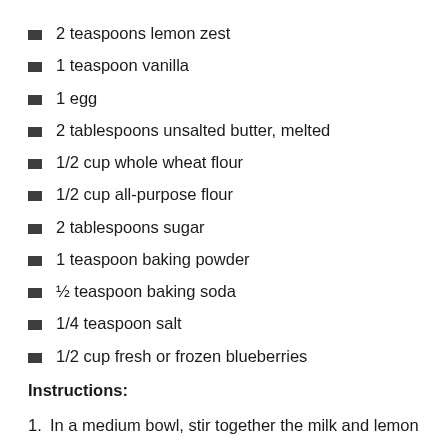2 teaspoons lemon zest
1 teaspoon vanilla
1 egg
2 tablespoons unsalted butter, melted
1/2 cup whole wheat flour
1/2 cup all-purpose flour
2 tablespoons sugar
1 teaspoon baking powder
½ teaspoon baking soda
1/4 teaspoon salt
1/2 cup fresh or frozen blueberries
Instructions:
1. In a medium bowl, stir together the milk and lemon